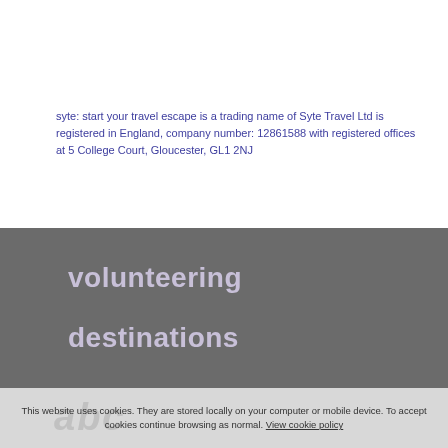syte: start your travel escape is a trading name of Syte Travel Ltd is registered in England, company number: 12861588 with registered offices at 5 College Court, Gloucester, GL1 2NJ
volunteering
destinations
abc
This website uses cookies. They are stored locally on your computer or mobile device. To accept cookies continue browsing as normal. View cookie policy